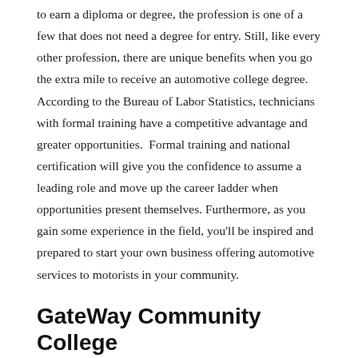to earn a diploma or degree, the profession is one of a few that does not need a degree for entry. Still, like every other profession, there are unique benefits when you go the extra mile to receive an automotive college degree. According to the Bureau of Labor Statistics, technicians with formal training have a competitive advantage and greater opportunities.  Formal training and national certification will give you the confidence to assume a leading role and move up the career ladder when opportunities present themselves. Furthermore, as you gain some experience in the field, you'll be inspired and prepared to start your own business offering automotive services to motorists in your community.
GateWay Community College
The Automotive Service Associate of Science Degree offered by Gateway Community College prepares students to diagnose, repair, and maintain mechanical issues in automobiles. Through partnerships with leading manufacturers. To develop